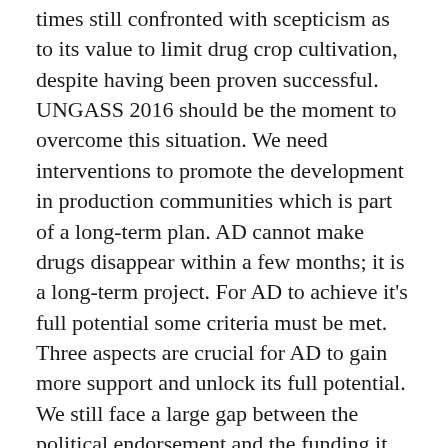times still confronted with scepticism as to its value to limit drug crop cultivation, despite having been proven successful. UNGASS 2016 should be the moment to overcome this situation. We need interventions to promote the development in production communities which is part of a long-term plan. AD cannot make drugs disappear within a few months; it is a long-term project. For AD to achieve it's full potential some criteria must be met. Three aspects are crucial for AD to gain more support and unlock its full potential. We still face a large gap between the political endorsement and the funding it receives. There is a distorted image of AD. On one hand it's politically visibility is raising high expectations, however the funding has been